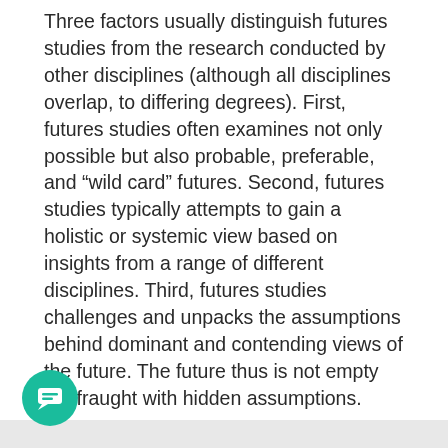Three factors usually distinguish futures studies from the research conducted by other disciplines (although all disciplines overlap, to differing degrees). First, futures studies often examines not only possible but also probable, preferable, and “wild card” futures. Second, futures studies typically attempts to gain a holistic or systemic view based on insights from a range of different disciplines. Third, futures studies challenges and unpacks the assumptions behind dominant and contending views of the future. The future thus is not empty but fraught with hidden assumptions.
Futures studies does not generally include the work of economists who forecast movements of interest rates over the next business cycle, or of managers or investors with short-term time horizons. Most strategic planning, which develops operational plans for preferred futures